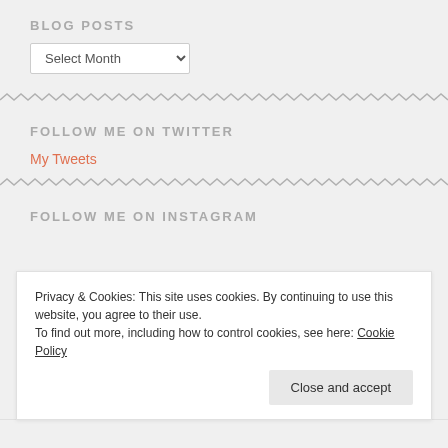BLOG POSTS
Select Month (dropdown)
FOLLOW ME ON TWITTER
My Tweets
FOLLOW ME ON INSTAGRAM
Privacy & Cookies: This site uses cookies. By continuing to use this website, you agree to their use. To find out more, including how to control cookies, see here: Cookie Policy
Close and accept